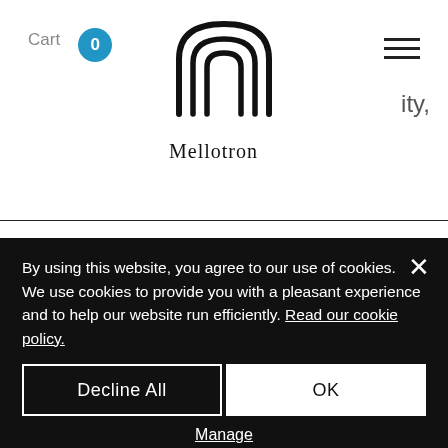Cart 0 | Mellotron logo | ity,
[Figure (logo): Mellotron logo — stylized M shape with triple arched lines and 'Mellotron' text beneath]
Product Info —
High-quality semi-weighted Fatar piano style keyboard with
By using this website, you agree to our use of cookies. We use cookies to provide you with a pleasant experience and to help our website run efficiently. Read our cookie policy.
Decline All
OK
Manage